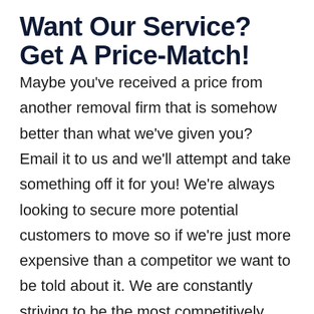Want Our Service? Get A Price-Match!
Maybe you've received a price from another removal firm that is somehow better than what we've given you? Email it to us and we'll attempt and take something off it for you! We're always looking to secure more potential customers to move so if we're just more expensive than a competitor we want to be told about it. We are constantly striving to be the most competitively priced service in the country for relocating from